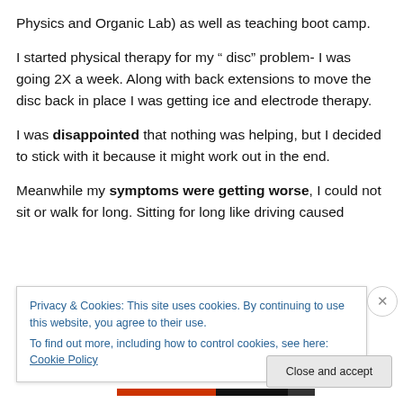Physics and Organic Lab) as well as teaching boot camp.
I started physical therapy for my " disc" problem- I was going 2X a week. Along with back extensions to move the disc back in place I was getting ice and electrode therapy.
I was disappointed that nothing was helping, but I decided to stick with it because it might work out in the end.
Meanwhile my symptoms were getting worse, I could not sit or walk for long. Sitting for long like driving caused
Privacy & Cookies: This site uses cookies. By continuing to use this website, you agree to their use.
To find out more, including how to control cookies, see here: Cookie Policy
Close and accept